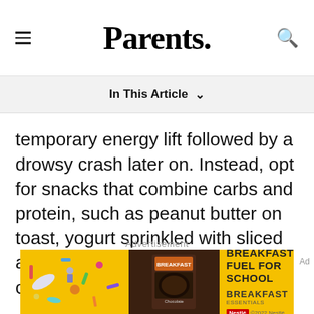Parents.
In This Article
temporary energy lift followed by a drowsy crash later on. Instead, opt for snacks that combine carbs and protein, such as peanut butter on toast, yogurt sprinkled with sliced almonds, or apples and slices of cheese.
Advertisement
[Figure (photo): Nestlé Breakfast Essentials advertisement banner with yellow background showing school supplies, a chocolate drink packet, and the text BREAKFAST FUEL FOR SCHOOL]